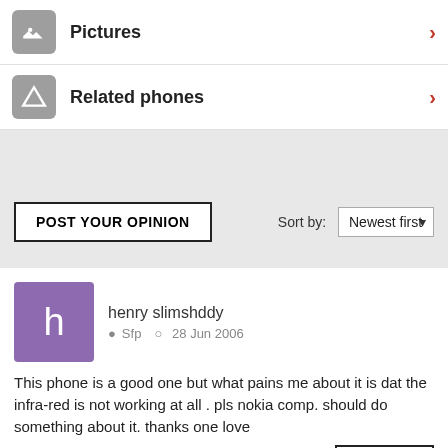Pictures
Related phones
POST YOUR OPINION
Sort by: Newest first
henry slimshddy  Sfp  28 Jun 2006
This phone is a good one but what pains me about it is dat the infrared is not working at all . pls nokia comp. should do something about it. thanks one love
REPLY